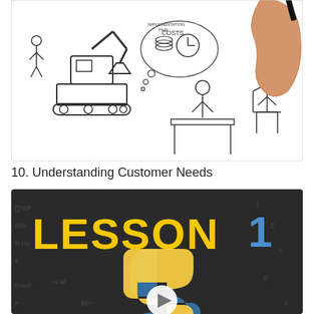[Figure (illustration): Whiteboard-style illustration showing construction equipment (excavator, crane), a person sitting at a desk with thought bubbles containing 'COSTS', 'IMPLEMENTATION TIME', a clock, coins, and another character sitting in a chair. A human hand holding a marker is drawing on the right side.]
10. Understanding Customer Needs
[Figure (screenshot): Dark chalkboard background with mathematical formulas. Yellow bold text reads 'LESSON' and blue number '1'. Python logo (blue and yellow snake) with a white play button circle in the center.]